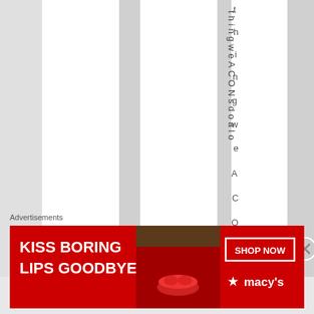[Figure (screenshot): Web page with vertical striped gray and white columns, vertical text reading 'thingweACONsdoalo' rotated 90 degrees in a gray column]
Advertisements
[Figure (photo): Macy's advertisement banner: red background with white text 'KISS BORING LIPS GOODBYE', a woman's face with red lips, 'SHOP NOW' button, and Macy's star logo]